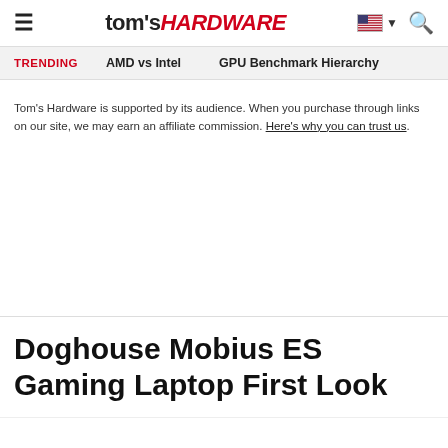tom's HARDWARE
TRENDING  AMD vs Intel  GPU Benchmark Hierarchy
Tom's Hardware is supported by its audience. When you purchase through links on our site, we may earn an affiliate commission. Here's why you can trust us.
Doghouse Mobius ES Gaming Laptop First Look